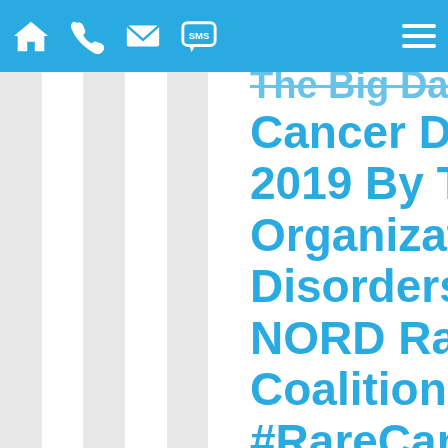Navigation bar with home, phone, mail, SMS icons and hamburger menu
The Big Day Is Here — Rare Cancer Day! Launched In 2019 By The National Organization For Rare Disorders (NORD) And The NORD Rare Cancer Coalition, The Goal Of #RareCancerDay Is To Raise Awareness Of Rare Cancers And The Need For Greater Research Funding